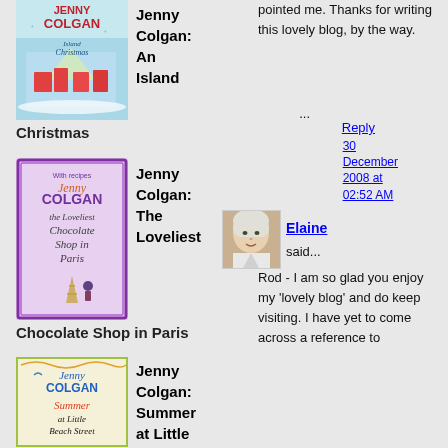[Figure (illustration): Book cover: Jenny Colgan An Island Christmas]
Jenny Colgan: An Island
Christmas
[Figure (illustration): Book cover: Jenny Colgan The Loveliest Chocolate Shop in Paris]
Jenny Colgan: The Loveliest
Chocolate Shop in Paris
[Figure (illustration): Book cover: Jenny Colgan Summer at Little Beach Street]
Jenny Colgan: Summer at Little Beach
pointed me. Thanks for writing this lovely blog, by the way.
...
Reply
30 December 2008 at 02:52 AM
[Figure (photo): Avatar photo of Elaine, a woman with short blonde/white hair]
Elaine
said...
Rod - I am so glad you enjoy my 'lovely blog' and do keep visiting. I have yet to come across a reference to